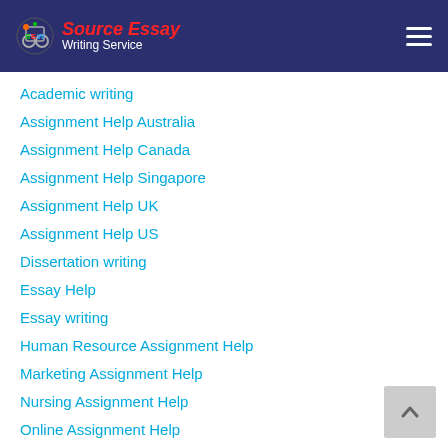Source Essay Writing Service
Academic writing
Assignment Help Australia
Assignment Help Canada
Assignment Help Singapore
Assignment Help UK
Assignment Help US
Dissertation writing
Essay Help
Essay writing
Human Resource Assignment Help
Marketing Assignment Help
Nursing Assignment Help
Online Assignment Help
Programing Assignment
Research paper writing